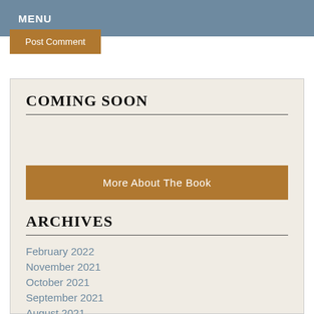MENU
Post Comment
COMING SOON
More About The Book
ARCHIVES
February 2022
November 2021
October 2021
September 2021
August 2021